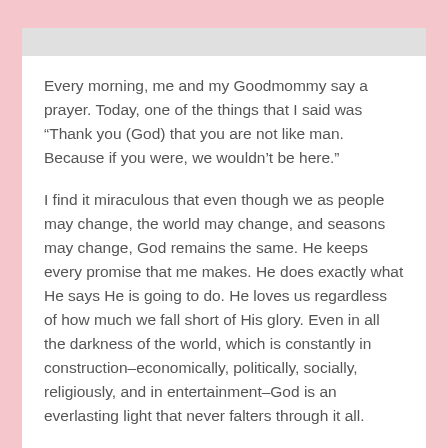Every morning, me and my Goodmommy say a prayer. Today, one of the things that I said was “Thank you (God) that you are not like man. Because if you were, we wouldn’t be here.”
I find it miraculous that even though we as people may change, the world may change, and seasons may change, God remains the same. He keeps every promise that me makes. He does exactly what He says He is going to do. He loves us regardless of how much we fall short of His glory. Even in all the darkness of the world, which is constantly in construction–economically, politically, socially, religiously, and in entertainment–God is an everlasting light that never falters through it all.